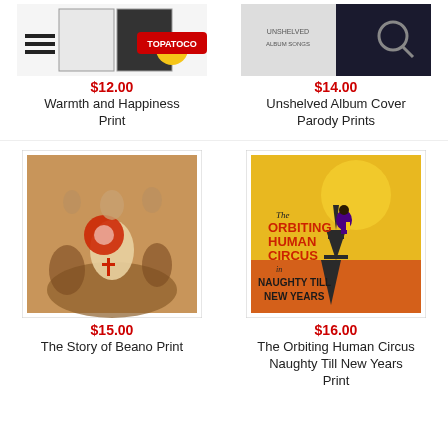[Figure (photo): Warmth and Happiness Print product thumbnail - cartoon style image with duck logo and TOPATOCO banner]
$12.00
Warmth and Happiness Print
[Figure (photo): Unshelved Album Cover Parody Prints product thumbnail - dark background with search icon]
$14.00
Unshelved Album Cover Parody Prints
[Figure (photo): The Story of Beano Print - illustrated art print with sepia toned figures]
$15.00
The Story of Beano Print
[Figure (photo): The Orbiting Human Circus Naughty Till New Years Print - vintage circus poster style art with Eiffel Tower]
$16.00
The Orbiting Human Circus Naughty Till New Years Print